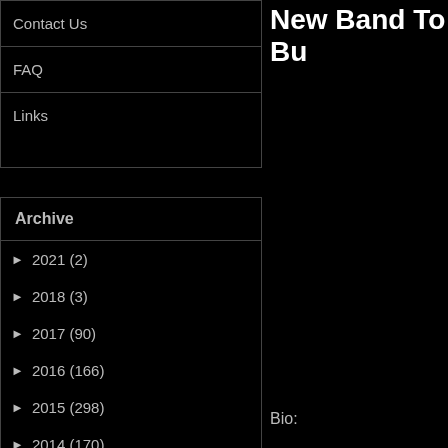Contact Us
FAQ
Links
Archive
► 2021 (2)
► 2018 (3)
► 2017 (90)
► 2016 (166)
► 2015 (298)
► 2014 (170)
► 2013 (332)
► 2012 (389)
▼ 2011 (502)
Dec (29)
Nov (29)
New Band To Bu
Bio: